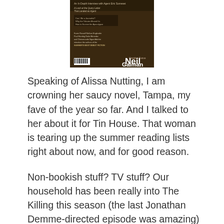[Figure (photo): Magazine cover featuring a dark-themed design with text 'Neil Gaiman' prominently displayed in white on a brown/dark background, with smaller text lines and a barcode visible.]
Speaking of Alissa Nutting, I am crowning her saucy novel, Tampa, my fave of the year so far. And I talked to her about it for Tin House. That woman is tearing up the summer reading lists right about now, and for good reason.
Non-bookish stuff? TV stuff? Our household has been really into The Killing this season (the last Jonathan Demme-directed episode was amazing) as well as The Bridge and the new season of Wilfred (so depraved and funny). I